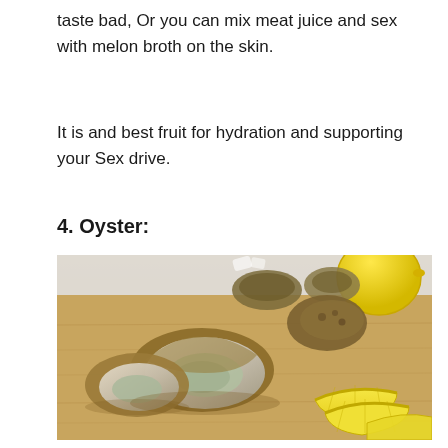taste bad, Or you can mix meat juice and sex with melon broth on the skin.
It is and best fruit for hydration and supporting your Sex drive.
4. Oyster:
[Figure (photo): Photo of fresh oysters on a wooden cutting board with lemon wedges and a whole lemon in the background]